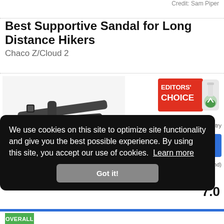Credit: Sam Piper
Best Supportive Sandal for Long Distance Hikers
Chaco Z/Cloud 2
[Figure (photo): Photo of a Chaco Z/Cloud 2 hiking sandal, dark grey/black straps]
[Figure (logo): Editors' Choice badge with red background and flask logo]
7.0
OVERALL
We use cookies on this site to optimize site functionality and give you the best possible experience. By using this site, you accept our use of cookies.  Learn more
Got it!